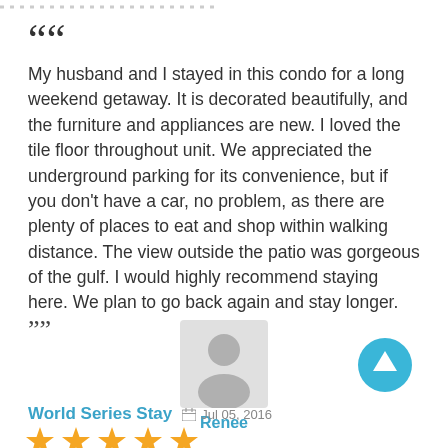[Figure (other): A row of small dotted/dashed decorative dots at the top of the page]
““ My husband and I stayed in this condo for a long weekend getaway. It is decorated beautifully, and the furniture and appliances are new. I loved the tile floor throughout unit. We appreciated the underground parking for its convenience, but if you don't have a car, no problem, as there are plenty of places to eat and shop within walking distance. The view outside the patio was gorgeous of the gulf. I would highly recommend staying here. We plan to go back again and stay longer. ””
[Figure (illustration): Gray silhouette avatar icon of a person (head and shoulders)]
Renee
[Figure (illustration): Blue circular button with white upward arrow icon]
World Series Stay
Jul 05, 2016
[Figure (illustration): Five yellow/orange star rating icons]